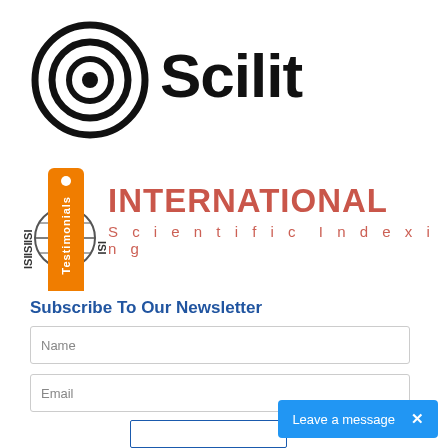[Figure (logo): Scilit logo with concentric circles icon and 'Scilit' text in bold]
[Figure (logo): ISI (International Scientific Indexing) logo with globe icon and 'ISI' labels, and an orange 'Testimonials' tab]
Subscribe To Our Newsletter
Name
Email
Leave a message ×